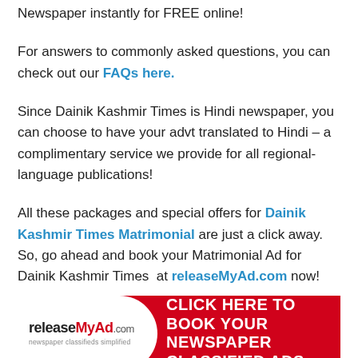Newspaper instantly for FREE online!
For answers to commonly asked questions, you can check out our FAQs here.
Since Dainik Kashmir Times is Hindi newspaper, you can choose to have your advt translated to Hindi – a complimentary service we provide for all regional-language publications!
All these packages and special offers for Dainik Kashmir Times Matrimonial are just a click away. So, go ahead and book your Matrimonial Ad for Dainik Kashmir Times at releaseMyAd.com now!
[Figure (infographic): releaseMyAd.com banner ad with white logo on left and red background with text CLICK HERE TO BOOK YOUR NEWSPAPER CLASSIFIED ADS on right]